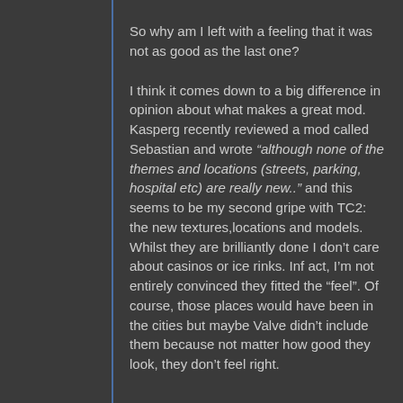So why am I left with a feeling that it was not as good as the last one?
I think it comes down to a big difference in opinion about what makes a great mod. Kasperg recently reviewed a mod called Sebastian and wrote “although none of the themes and locations (streets, parking, hospital etc) are really new..” and this seems to be my second gripe with TC2: the new textures,locations and models. Whilst they are brilliantly done I don’t care about casinos or ice rinks. Inf act, I’m not entirely convinced they fitted the “feel”. Of course, those places would have been in the cities but maybe Valve didn’t include them because not matter how good they look, they don’t feel right.